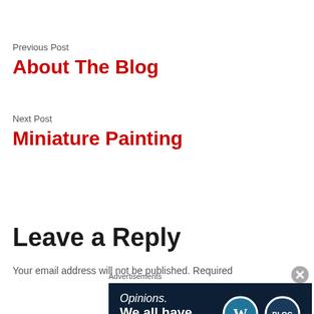Previous Post
About The Blog
Next Post
Miniature Painting
Leave a Reply
Your email address will not be published. Required
Advertisements
[Figure (other): Advertisement banner with dark navy background showing 'Opinions. We all have them!' with WordPress and another logo on the right side]